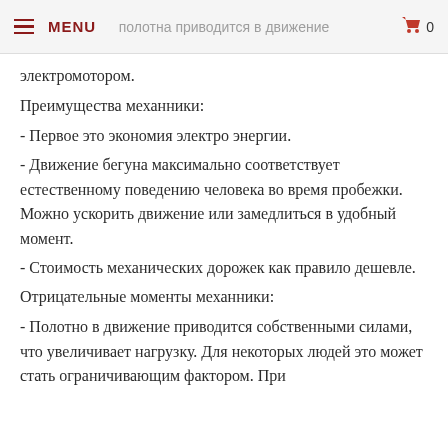MENU | полотна приводится в движение | 0
электромотором.
Преимущества механники:
- Первое это экономия электро энергии.
- Движение бегуна максимально соответствует естественному поведению человека во время пробежки. Можно ускорить движение или замедлиться в удобный момент.
- Стоимость механических дорожек как правило дешевле.
Отрицательные моменты механники:
- Полотно в движение приводится собственными силами, что увеличивает нагрузку. Для некоторых людей это может стать ограничивающим фактором. При